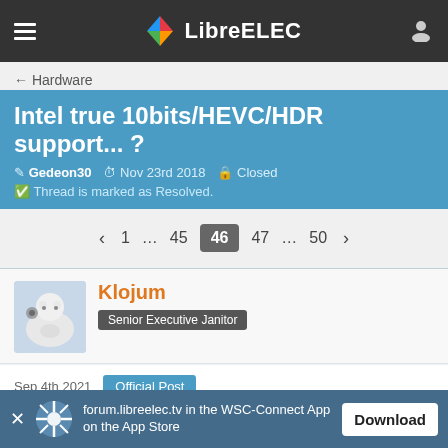LibreELEC
← Hardware
Intel true 10bits/HEVC/HDR support... ?
Gedeon30  Nov 23rd 2018  Closed  Thread is marked as Resolved.
‹ 1 … 45 46 47 … 50 ›
Klojum
Senior Executive Janitor
Sep 4th 2021  Official Post
forum.libreelec.tv in the WSC-Connect App on the App Store  Download